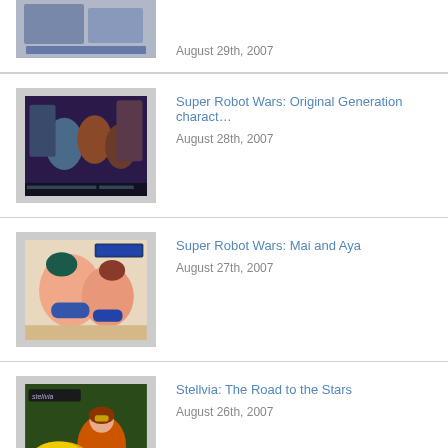[Figure (illustration): Partial anime/mecha illustration thumbnail at top of page]
August 29th, 2007
[Figure (illustration): Super Robot Wars Original Generation characters anime illustration thumbnail]
Super Robot Wars: Original Generation charact…
August 28th, 2007
[Figure (illustration): Super Robot Wars Mai and Aya anime illustration thumbnail showing two female characters]
Super Robot Wars: Mai and Aya
August 27th, 2007
[Figure (illustration): Stellvia anime illustration thumbnail showing character with yellow vehicle]
Stellvia: The Road to the Stars
August 26th, 2007